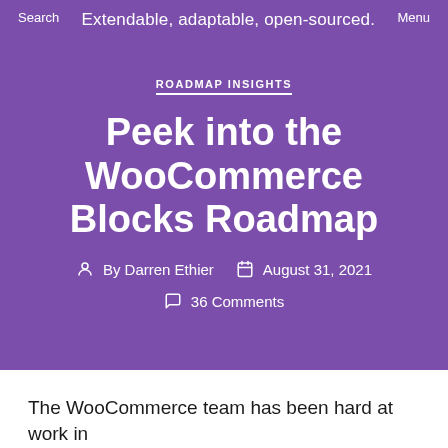Search    Extendable, adaptable, open-sourced.    Menu
ROADMAP INSIGHTS
Peek into the WooCommerce Blocks Roadmap
By Darren Ethier   August 31, 2021   36 Comments
The WooCommerce team has been hard at work in